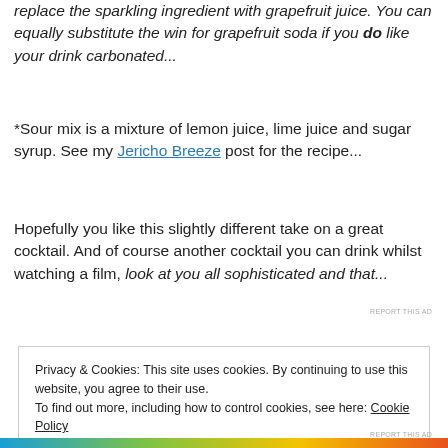replace the sparkling ingredient with grapefruit juice. You can equally substitute the win for grapefruit soda if you do like your drink carbonated...
*Sour mix is a mixture of lemon juice, lime juice and sugar syrup. See my Jericho Breeze post for the recipe...
Hopefully you like this slightly different take on a great cocktail. And of course another cocktail you can drink whilst watching a film, look at you all sophisticated and that...
REPORT THIS AD
Privacy & Cookies: This site uses cookies. By continuing to use this website, you agree to their use.
To find out more, including how to control cookies, see here: Cookie Policy
Close and accept